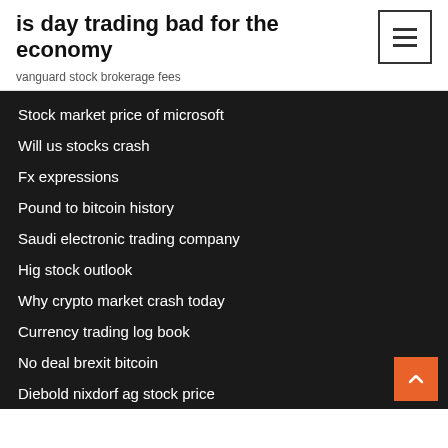is day trading bad for the economy
vanguard stock brokerage fees
Stock market price of microsoft
Will us stocks crash
Fx expressions
Pound to bitcoin history
Saudi electronic trading company
Hig stock outlook
Why crypto market crash today
Currency trading log book
No deal brexit bitcoin
Diebold nixdorf ag stock price